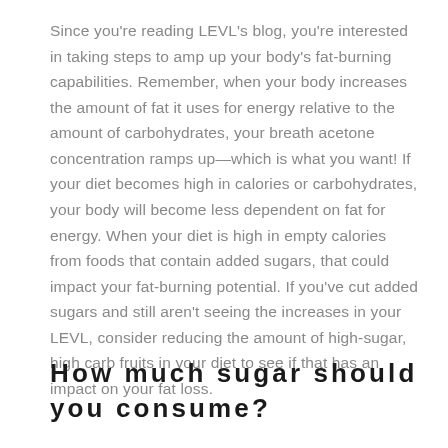Since you're reading LEVL's blog, you're interested in taking steps to amp up your body's fat-burning capabilities. Remember, when your body increases the amount of fat it uses for energy relative to the amount of carbohydrates, your breath acetone concentration ramps up—which is what you want! If your diet becomes high in calories or carbohydrates, your body will become less dependent on fat for energy. When your diet is high in empty calories from foods that contain added sugars, that could impact your fat-burning potential. If you've cut added sugars and still aren't seeing the increases in your LEVL, consider reducing the amount of high-sugar, high carb fruits in your diet to see if that has an impact on your fat loss.
How much sugar should you consume?